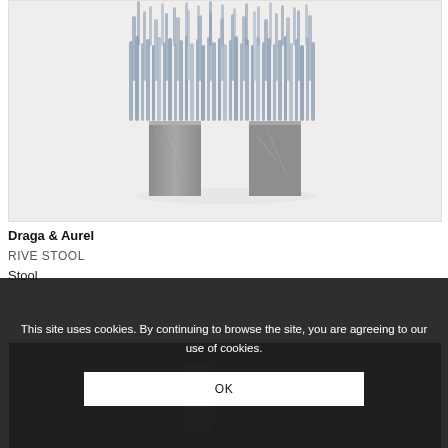[Figure (photo): Photo of a stool with blue/gray fluffy textile top and two rectangular concrete/stone legs, on a light gray background]
Draga & Aurel
RIVE STOOL
Stool
[Figure (photo): Partially visible product image, dark background]
This site uses cookies. By continuing to browse the site, you are agreeing to our use of cookies.
OK